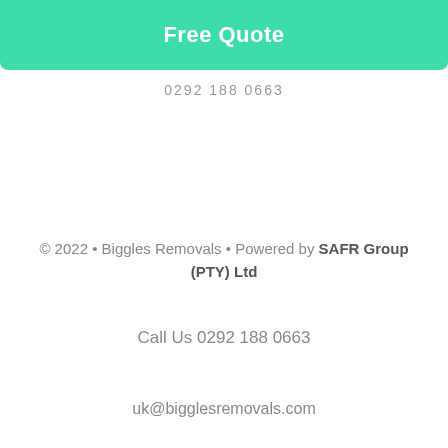Free Quote
0292 188 0663
© 2022 • Biggles Removals • Powered by SAFR Group (PTY) Ltd
Call Us 0292 188 0663
uk@bigglesremovals.com